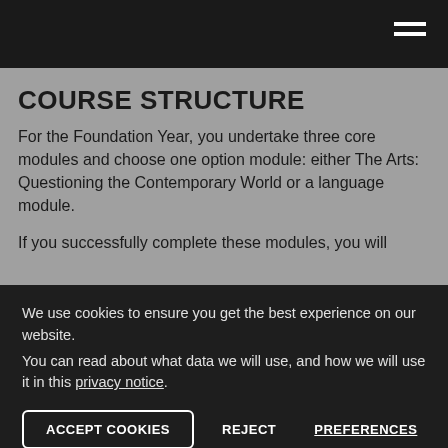≡
COURSE STRUCTURE
For the Foundation Year, you undertake three core modules and choose one option module: either The Arts: Questioning the Contemporary World or a language module.
If you successfully complete these modules, you will
We use cookies to ensure you get the best experience on our website.
You can read about what data we will use, and how we will use it in this privacy notice.
ACCEPT COOKIES   REJECT   PREFERENCES